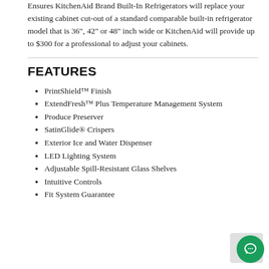Ensures KitchenAid Brand Built-In Refrigerators will replace your existing cabinet cut-out of a standard comparable built-in refrigerator model that is 36", 42" or 48" inch wide or KitchenAid will provide up to $300 for a professional to adjust your cabinets.
FEATURES
PrintShield™ Finish
ExtendFresh™ Plus Temperature Management System
Produce Preserver
SatinGlide® Crispers
Exterior Ice and Water Dispenser
LED Lighting System
Adjustable Spill-Resistant Glass Shelves
Intuitive Controls
Fit System Guarantee